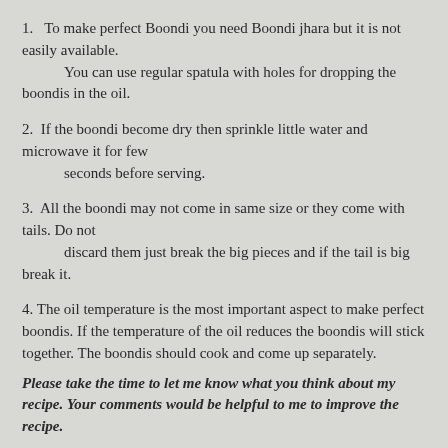1.  To make perfect Boondi you need Boondi jhara but it is not easily available.
    You can use regular spatula with holes for dropping the boondis in the oil.
2.  If the boondi become dry then sprinkle little water and microwave it for few
    seconds before serving.
3.  All the boondi may not come in same size or they come with tails. Do not
    discard them just break the big pieces and if the tail is big break it.
4. The oil temperature is the most important aspect to make perfect boondis. If the temperature of the oil reduces the boondis will stick together. The boondis should cook and come up separately.
Please take the time to let me know what you think about my recipe. Your comments would be helpful to me to improve the recipe.
Thank you